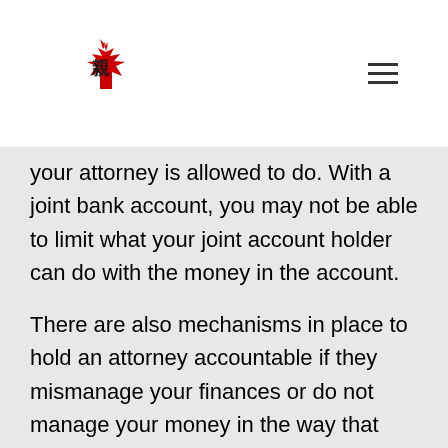[Figure (logo): Red maple leaf with Chinese character kanji logo]
your attorney is allowed to do. With a joint bank account, you may not be able to limit what your joint account holder can do with the money in the account.
There are also mechanisms in place to hold an attorney accountable if they mismanage your finances or do not manage your money in the way that you directed them to in the power of